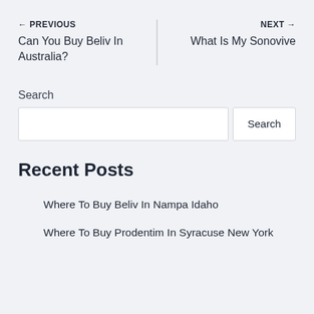← PREVIOUS
Can You Buy Beliv In Australia?
NEXT →
What Is My Sonovive
Search
[Figure (other): Search input box with Search button]
Recent Posts
Where To Buy Beliv In Nampa Idaho
Where To Buy Prodentim In Syracuse New York